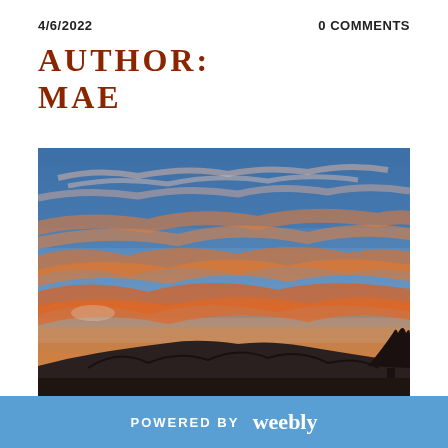4/6/2022    0 COMMENTS
AUTHOR:
MAE
[Figure (photo): Sunset sky photograph with vivid orange, pink, and purple clouds streaking across a deep blue sky, with a dark silhouette of mountains and trees along the bottom edge.]
POWERED BY weebly